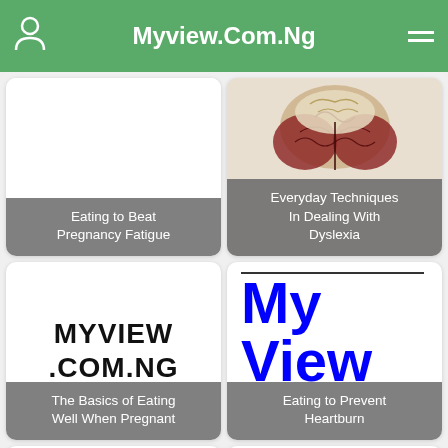Myview.Com.Ng
[Figure (screenshot): Card: blank white background with overlay label 'Eating to Beat Pregnancy Fatigue']
[Figure (photo): Card: brain anatomy image with overlay label 'Everyday Techniques In Dealing With Dyslexia']
[Figure (logo): Card: MYVIEW .COM.NG black bold logo with overlay label 'The Basics of Eating Well When Pregnant']
[Figure (logo): Card: 'My View' large blue text with overlay label 'Eating to Prevent Heartburn']
[Figure (logo): Card: 'My' large blue text (partial) with overlay label 'Dealing with Natural']
[Figure (logo): Card: MYVIEW .COM.NG black bold logo]